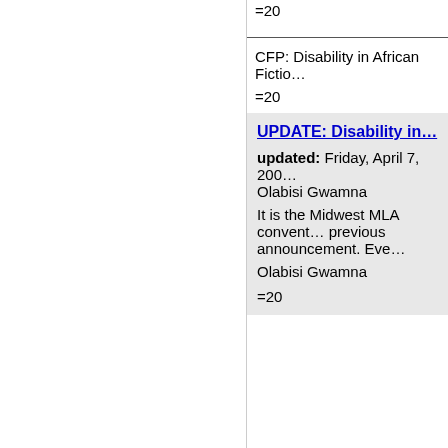=20
CFP: Disability in African Fictio…
=20
UPDATE: Disability in…
updated: Friday, April 7, 200…
Olabisi Gwamna
It is the Midwest MLA convent… previous announcement. Eve…

Olabisi Gwamna
=20